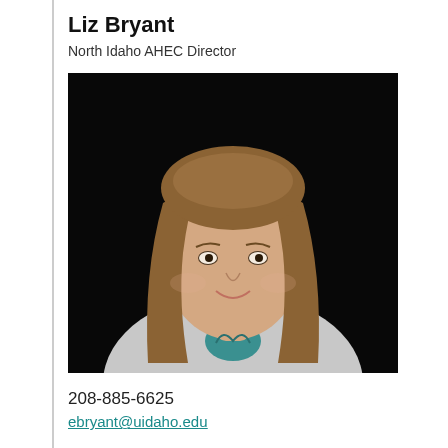Liz Bryant
North Idaho AHEC Director
[Figure (photo): Professional headshot of Liz Bryant, a woman with long straight brown hair, smiling, wearing a light gray cardigan and a teal/green patterned top, photographed against a dark/black background.]
208-885-6625
ebryant@uidaho.edu